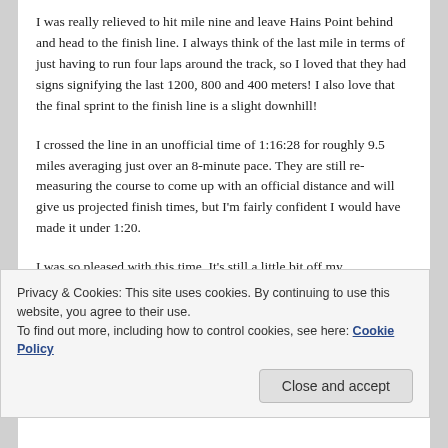I was really relieved to hit mile nine and leave Hains Point behind and head to the finish line. I always think of the last mile in terms of just having to run four laps around the track, so I loved that they had signs signifying the last 1200, 800 and 400 meters! I also love that the final sprint to the finish line is a slight downhill!
I crossed the line in an unofficial time of 1:16:28 for roughly 9.5 miles averaging just over an 8-minute pace. They are still re-measuring the course to come up with an official distance and will give us projected finish times, but I'm fairly confident I would have made it under 1:20.
I was so pleased with this time. It's still a little bit off my
Privacy & Cookies: This site uses cookies. By continuing to use this website, you agree to their use.
To find out more, including how to control cookies, see here: Cookie Policy